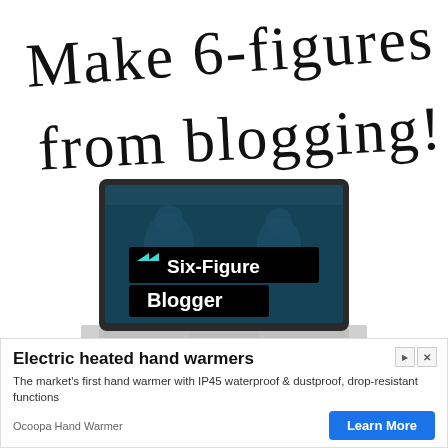Make 6-figures from blogging!
[Figure (illustration): Laptop computer showing a dark teal screen with the text 'Six-Figure Blogger' and cyan chevron arrows logo]
Electric heated hand warmers
The market's first hand warmer with IP45 waterproof & dustproof, drop-resistant functions
Ocoopa Hand Warmer
Learn More